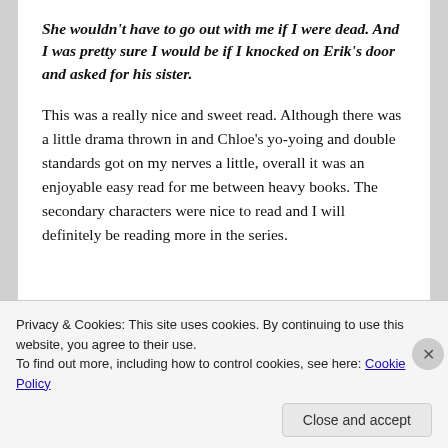She wouldn't have to go out with me if I were dead. And I was pretty sure I would be if I knocked on Erik's door and asked for his sister.
This was a really nice and sweet read. Although there was a little drama thrown in and Chloe's yo-yoing and double standards got on my nerves a little, overall it was an enjoyable easy read for me between heavy books. The secondary characters were nice to read and I will definitely be reading more in the series.
Privacy & Cookies: This site uses cookies. By continuing to use this website, you agree to their use.
To find out more, including how to control cookies, see here: Cookie Policy
Close and accept